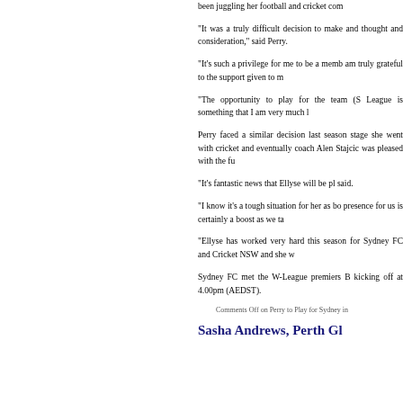been juggling her football and cricket com
“It was a truly difficult decision to make and thought and consideration,” said Perry.
“It’s such a privilege for me to be a memb am truly grateful to the support given to m
“The opportunity to play for the team (S League is something that I am very much l
Perry faced a similar decision last season stage she went with cricket and eventually coach Alen Stajcic was pleased with the fu
“It’s fantastic news that Ellyse will be pl said.
“I know it’s a tough situation for her as bo presence for us is certainly a boost as we ta
“Ellyse has worked very hard this season for Sydney FC and Cricket NSW and she w
Sydney FC met the W-League premiers B kicking off at 4.00pm (AEDST).
Comments Off on Perry to Play for Sydney in
Sasha Andrews, Perth Gl